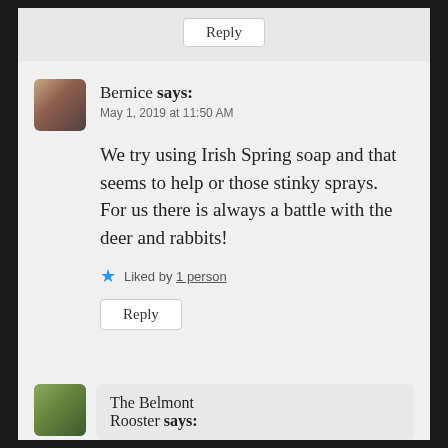Reply
Bernice says:
May 1, 2019 at 11:50 AM
We try using Irish Spring soap and that seems to help or those stinky sprays. For us there is always a battle with the deer and rabbits!
Liked by 1 person
Reply
The Belmont Rooster says: